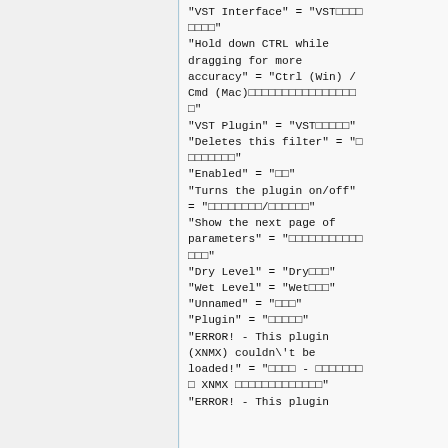"VST Interface" = "VST□□□□□□□□"
"Hold down CTRL while dragging for more accuracy" = "Ctrl (Win) / Cmd (Mac)□□□□□□□□□□□□□□□□□"
"VST Plugin" = "VST□□□□□"
"Deletes this filter" = "□□□□□□□□□"
"Enabled" = "□□"
"Turns the plugin on/off" = "□□□□□□□□/□□□□□□"
"Show the next page of parameters" = "□□□□□□□□□□□□□□"
"Dry Level" = "Dry□□□"
"Wet Level" = "Wet□□□"
"Unnamed" = "□□□"
"Plugin" = "□□□□□"
"ERROR! - This plugin (XNMX) couldn\'t be loaded!" = "□□□□ - □□□□□□□□ XNMX □□□□□□□□□□□□□"
"ERROR! - This plugin